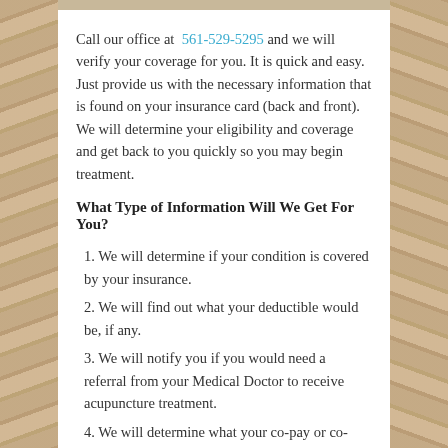Call our office at 561-529-5295 and we will verify your coverage for you. It is quick and easy. Just provide us with the necessary information that is found on your insurance card (back and front). We will determine your eligibility and coverage and get back to you quickly so you may begin treatment.
What Type of Information Will We Get For You?
1. We will determine if your condition is covered by your insurance.
2. We will find out what your deductible would be, if any.
3. We will notify you if you would need a referral from your Medical Doctor to receive acupuncture treatment.
4. We will determine what your co-pay or co-insurance